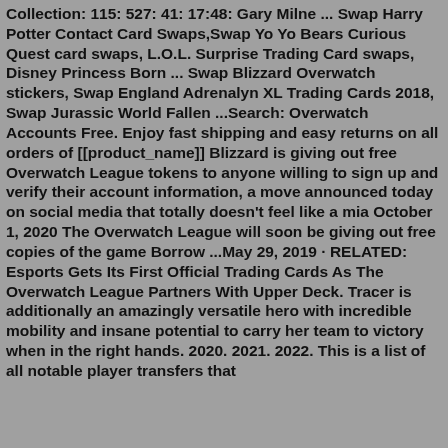Collection: 115: 527: 41: 17:48: Gary Milne ... Swap Harry Potter Contact Card Swaps,Swap Yo Yo Bears Curious Quest card swaps, L.O.L. Surprise Trading Card swaps, Disney Princess Born ... Swap Blizzard Overwatch stickers, Swap England Adrenalyn XL Trading Cards 2018, Swap Jurassic World Fallen ...Search: Overwatch Accounts Free. Enjoy fast shipping and easy returns on all orders of [[product_name]] Blizzard is giving out free Overwatch League tokens to anyone willing to sign up and verify their account information, a move announced today on social media that totally doesn't feel like a mia October 1, 2020 The Overwatch League will soon be giving out free copies of the game Borrow ...May 29, 2019 · RELATED: Esports Gets Its First Official Trading Cards As The Overwatch League Partners With Upper Deck. Tracer is additionally an amazingly versatile hero with incredible mobility and insane potential to carry her team to victory when in the right hands. 2020. 2021. 2022. This is a list of all notable player transfers that